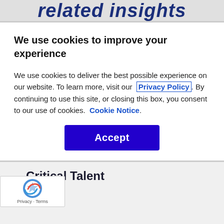related insights
We use cookies to improve your experience
We use cookies to deliver the best possible experience on our website. To learn more, visit our  Privacy Policy . By continuing to use this site, or closing this box, you consent to our use of cookies.  Cookie Notice .
Accept
Critical Talent